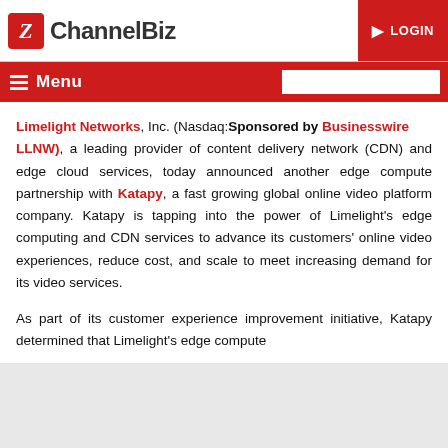ChannelBiz | LOGIN
Menu
Limelight Networks, Inc. (Nasdaq: Sponsored by Businesswire LLNW), a leading provider of content delivery network (CDN) and edge cloud services, today announced another edge compute partnership with Katapy, a fast growing global online video platform company. Katapy is tapping into the power of Limelight's edge computing and CDN services to advance its customers' online video experiences, reduce cost, and scale to meet increasing demand for its video services.
As part of its customer experience improvement initiative, Katapy determined that Limelight's edge compute